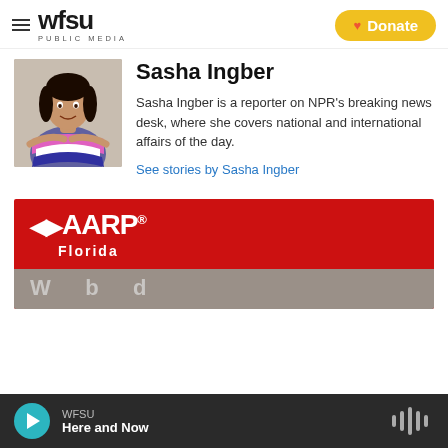WFSU PUBLIC MEDIA — Donate
Sasha Ingber
[Figure (photo): Headshot photo of Sasha Ingber, a woman with dark hair wearing a striped top, arms crossed, smiling]
Sasha Ingber is a reporter on NPR's breaking news desk, where she covers national and international affairs of the day.
See stories by Sasha Ingber
[Figure (logo): AARP Florida advertisement banner with red background, white AARP logo and Florida text, with a grey photo strip below]
WFSU — Here and Now (audio player bar)